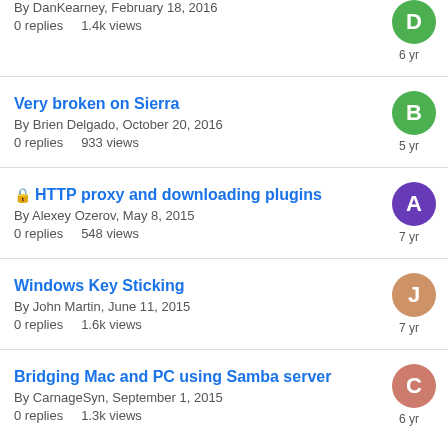By DanKearney, February 18, 2016
0 replies    1.4k views
Very broken on Sierra
By Brien Delgado, October 20, 2016
0 replies    933 views
🔒 HTTP proxy and downloading plugins
By Alexey Ozerov, May 8, 2015
0 replies    548 views
Windows Key Sticking
By John Martin, June 11, 2015
0 replies    1.6k views
Bridging Mac and PC using Samba server
By CarnageSyn, September 1, 2015
0 replies    1.3k views